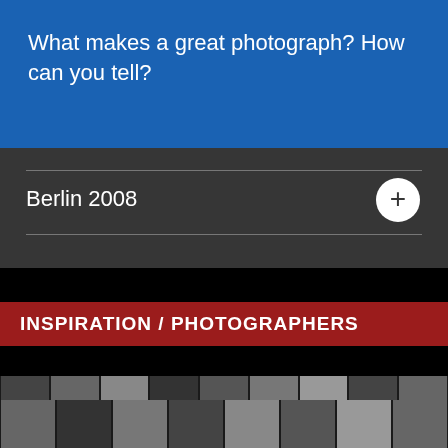What makes a great photograph? How can you tell?
Berlin 2008
INSPIRATION / PHOTOGRAPHERS
[Figure (photo): Grid of black and white photography thumbnails showing various portraits and artistic photographs, row 1]
[Figure (photo): Grid of black and white photography thumbnails showing various portraits and artistic photographs, row 2]